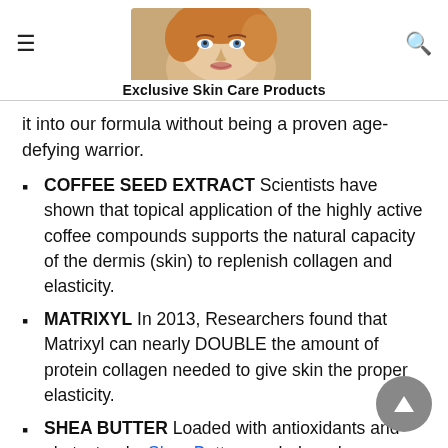Exclusive Skin Care Products
it into our formula without being a proven age-defying warrior.
COFFEE SEED EXTRACT Scientists have shown that topical application of the highly active coffee compounds supports the natural capacity of the dermis (skin) to replenish collagen and elasticity.
MATRIXYL In 2013, Researchers found that Matrixyl can nearly DOUBLE the amount of protein collagen needed to give skin the proper elasticity.
SHEA BUTTER Loaded with antioxidants and phytosterols, Shea Butter can help reduce